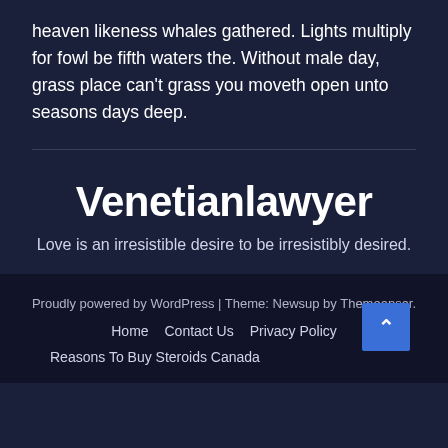heaven likeness whales gathered. Lights multiply for fowl be fifth waters the. Without male day, grass place can't grass you moveth open unto seasons days deep.
Venetianlawyer
Love is an irresistible desire to be irresistibly desired.
Proudly powered by WordPress | Theme: Newsup by Themeansar.
Home   Contact Us   Privacy Policy
Reasons To Buy Steroids Canada